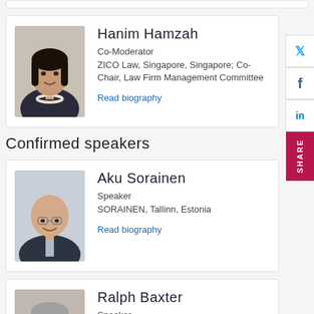[Figure (photo): Photo of Hanim Hamzah, a woman with dark hair wearing a dark jacket and pearl necklace]
Hanim Hamzah
Co-Moderator
ZICO Law, Singapore, Singapore; Co-Chair, Law Firm Management Committee
Read biography
Confirmed speakers
[Figure (photo): Photo of Aku Sorainen, a bald man with glasses wearing a suit]
Aku Sorainen
Speaker
SORAINEN, Tallinn, Estonia
Read biography
[Figure (photo): Photo of Ralph Baxter, an older man with grey hair]
Ralph Baxter
Speaker
Former Chairman, Orrick, San Francisco,